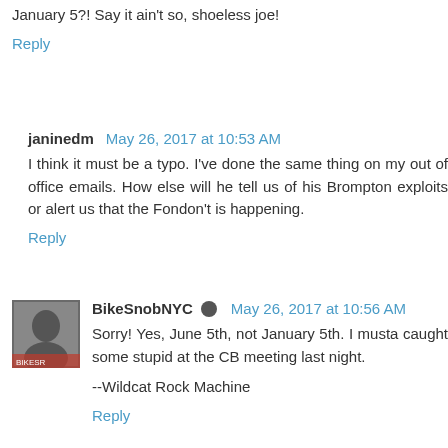January 5?! Say it ain't so, shoeless joe!
Reply
janinedm  May 26, 2017 at 10:53 AM
I think it must be a typo. I've done the same thing on my out of office emails. How else will he tell us of his Brompton exploits or alert us that the Fondon't is happening.
Reply
BikeSnobNYC  May 26, 2017 at 10:56 AM
Sorry! Yes, June 5th, not January 5th. I musta caught some stupid at the CB meeting last night.

--Wildcat Rock Machine
Reply